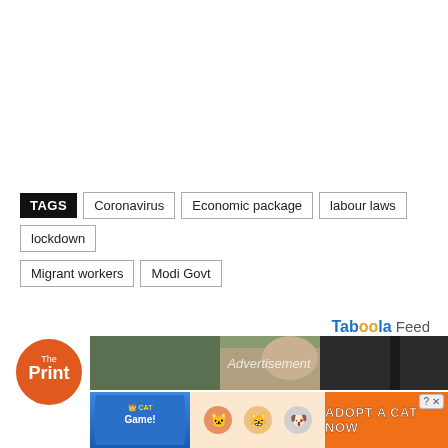TAGS  Coronavirus  Economic package  labour laws  lockdown  Migrant workers  Modi Govt
[Figure (other): Taboola Feed logo and advertisement section with The Print logo, a photo of a person outdoors, and a 'Adopt a Cat Now' game advertisement banner at the bottom]